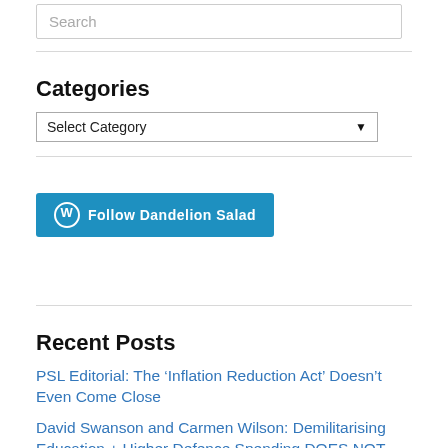Search
Categories
Select Category
[Figure (screenshot): Follow Dandelion Salad WordPress follow button]
Recent Posts
PSL Editorial: The 'Inflation Reduction Act' Doesn't Even Come Close
David Swanson and Carmen Wilson: Demilitarising Education + Higher Defence Spending DOES NOT Equal Higher Security
Doing Nothing While the World Burns and Extinction Looms, by Andy